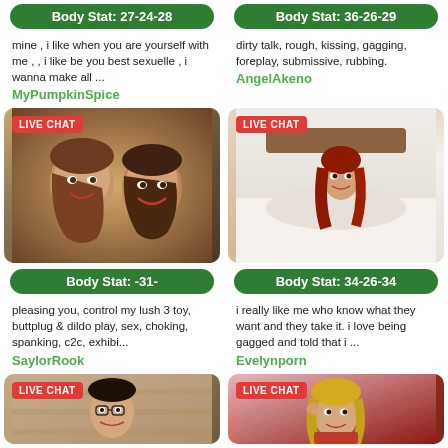Body Stat: 27-24-28
Body Stat: 36-26-29
mine , i like when you are yourself with me , , i like be you best sexuelle , i wanna make all ...
dirty talk, rough, kissing, gagging, foreplay, submissive, rubbing.
MyPumpkinSpice
AngelAkeno
[Figure (photo): Couple selfie photo with LIVE CHAT badge]
[Figure (photo): Woman on bed photo with LIVE CHAT badge]
Body Stat: -31-
Body Stat: 34-26-34
pleasing you, control my lush 3 toy, buttplug & dildo play, sex, choking, spanking, c2c, exhibi...
i really like me who know what they want and they take it. i love being gagged and told that i ...
SaylorRook
Evelynporn
[Figure (photo): Young man with glasses photo with LIVE CHAT badge]
[Figure (photo): Blonde woman in red with LIVE CHAT badge]